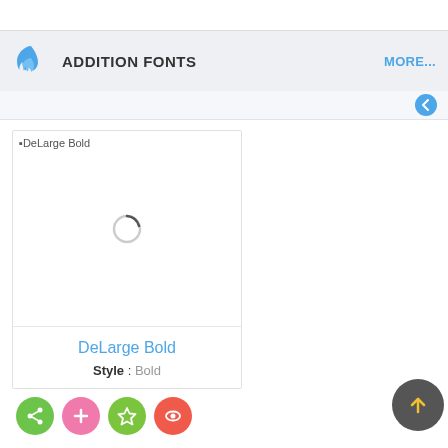ADDITION FONTS
[Figure (screenshot): App screenshot showing DeLarge Bold font card with broken image placeholder, loading spinner, font name in blue, style label, and action buttons]
DeLarge Bold
Style : Bold